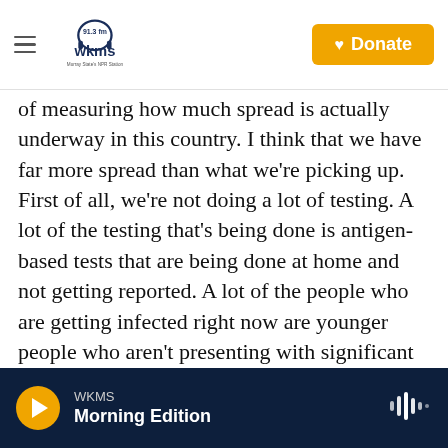WKMS 91.3 fm — Murray State's NPR Station | Donate
of measuring how much spread is actually underway in this country. I think that we have far more spread than what we're picking up. First of all, we're not doing a lot of testing. A lot of the testing that's being done is antigen-based tests that are being done at home and not getting reported. A lot of the people who are getting infected right now are younger people who aren't presenting with significant symptoms, so they're not even seeking out testing.
If you're someone who is vaccinated and you
WKMS — Morning Edition